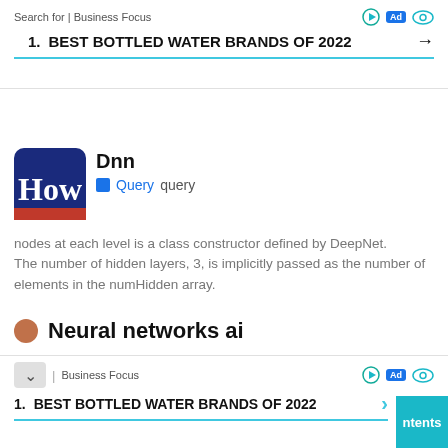Search for | Business Focus  [Ad] 1. BEST BOTTLED WATER BRANDS OF 2022 →
[Figure (logo): How logo - blue/dark square with 'How' in white text and red underline]
Dnn
Query  query
nodes at each level is a class constructor defined by DeepNet. The number of hidden layers, 3, is implicitly passed as the number of elements in the numHidden array.
Neural networks ai
An artificial neural network is a group of interconnected nodes inspired by the simplification of neurons in the brain. Here, each circular node represents an artificial neuron and the arrow represents the connection between the output of one artificial neuron and the input of another.
1. BEST BOTTLED WATER BRANDS OF 2022  ntents